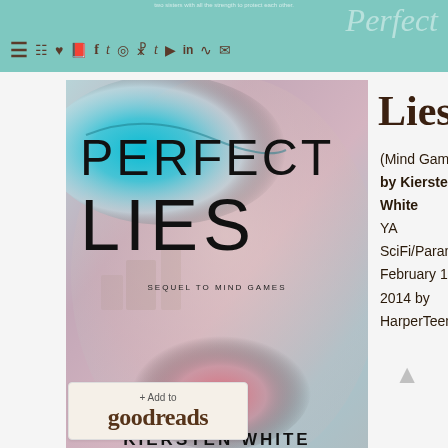navigation header with hamburger menu and social icons
[Figure (photo): Book cover of Perfect Lies by Kiersten White, showing a close-up of a woman's face with teal eye, pink lips, and overlaid text 'PERFECT LIES - Sequel to Mind Games' by Kiersten White, New York Times bestselling author]
Lies
(Mind Games #2)
by Kiersten White
YA
SciFi/Paranormal
February 18th 2014 by HarperTeen
[Figure (logo): + Add to goodreads button]